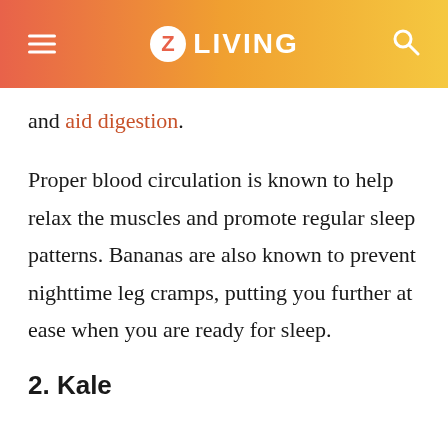Z LIVING
and aid digestion.
Proper blood circulation is known to help relax the muscles and promote regular sleep patterns. Bananas are also known to prevent nighttime leg cramps, putting you further at ease when you are ready for sleep.
2. Kale